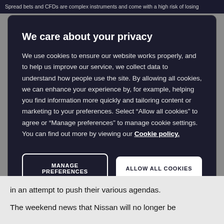Spread bets and CFDs are complex instruments and come with a high risk of losing
We care about your privacy
We use cookies to ensure our website works properly, and to help us improve our service, we collect data to understand how people use the site. By allowing all cookies, we can enhance your experience by, for example, helping you find information more quickly and tailoring content or marketing to your preferences. Select “Allow all cookies” to agree or “Manage preferences” to manage cookie settings. You can find out more by viewing our Cookie policy.
MANAGE PREFERENCES
ALLOW ALL COOKIES
in an attempt to push their various agendas.
The weekend news that Nissan will no longer be